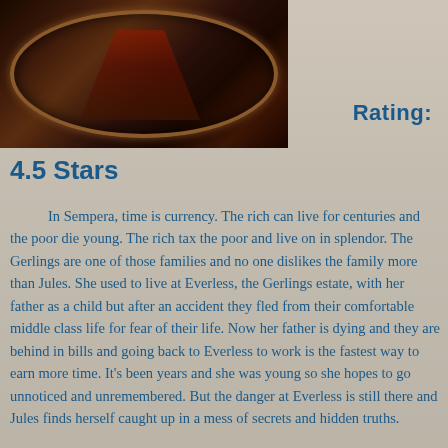[Figure (photo): Book cover or decorative image showing a dark circular/oval ornate frame with what appears to be a bird or feathers inside, set against a dark background]
Rating:
4.5 Stars
In Sempera, time is currency. The rich can live for centuries and the poor die young. The rich tax the poor and live on in splendor. The Gerlings are one of those families and no one dislikes the family more than Jules. She used to live at Everless, the Gerlings estate, with her father as a child but after an accident they fled from their comfortable middle class life for fear of their life. Now her father is dying and they are behind in bills and going back to Everless to work is the fastest way to earn more time. It's been years and she was young so she hopes to go unnoticed and unremembered. But the danger at Everless is still there and Jules finds herself caught up in a mess of secrets and hidden truths.